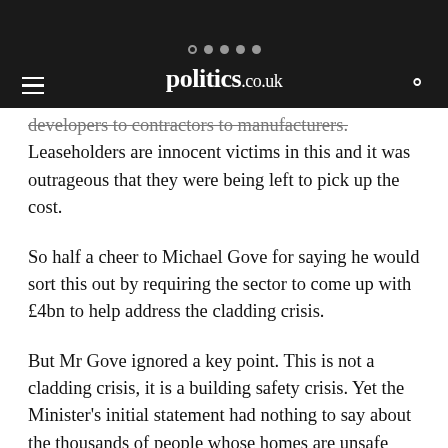politics.co.uk
developers to contractors to manufacturers. Leaseholders are innocent victims in this and it was outrageous that they were being left to pick up the cost.
So half a cheer to Michael Gove for saying he would sort this out by requiring the sector to come up with £4bn to help address the cladding crisis.
But Mr Gove ignored a key point. This is not a cladding crisis, it is a building safety crisis. Yet the Minister's initial statement had nothing to say about the thousands of people whose homes are unsafe because of fire risks unrelated to cladding